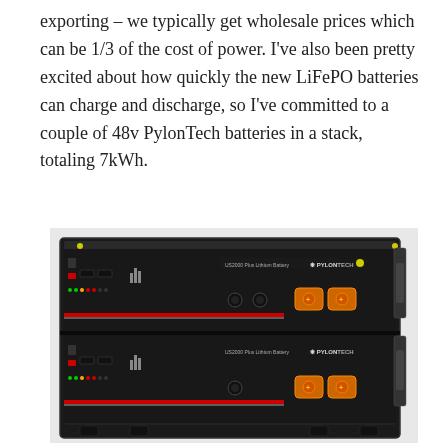exporting – we typically get wholesale prices which can be 1/3 of the cost of power. I've also been pretty excited about how quickly the new LiFePO batteries can charge and discharge, so I've committed to a couple of 48v PylonTech batteries in a stack, totaling 7kWh.
[Figure (photo): Two stacked PylonTech US2000 Plus 48v Lithium Battery units in a black rack enclosure. Each unit has orange terminal connectors, control buttons, LED indicators, and the PylonTech brand logo on the front panel.]